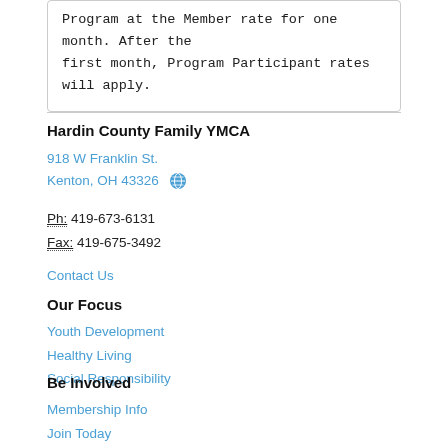Program at the Member rate for one month. After the first month, Program Participant rates will apply.
Hardin County Family YMCA
918 W Franklin St.
Kenton, OH 43326
Ph: 419-673-6131
Fax: 419-675-3492
Contact Us
Our Focus
Youth Development
Healthy Living
Social Responsibility
Be Involved
Membership Info
Join Today
Give